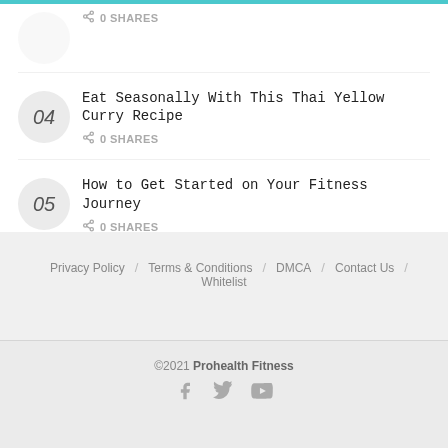0 SHARES
04 — Eat Seasonally With This Thai Yellow Curry Recipe — 0 SHARES
05 — How to Get Started on Your Fitness Journey — 0 SHARES
Privacy Policy / Terms & Conditions / DMCA / Contact Us / Whitelist
© 2021 Prohealth Fitness